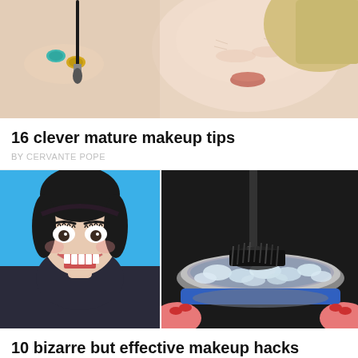[Figure (photo): Close-up photo of a woman's face with makeup being applied by a hand holding a brush, person wearing rings]
16 clever mature makeup tips
BY CERVANTE POPE
[Figure (photo): Two side-by-side photos: left shows a woman with mouth wide open laughing against a blue background; right shows a makeup brush being dipped into a metal bowl filled with ice water]
10 bizarre but effective makeup hacks everyone needs to know